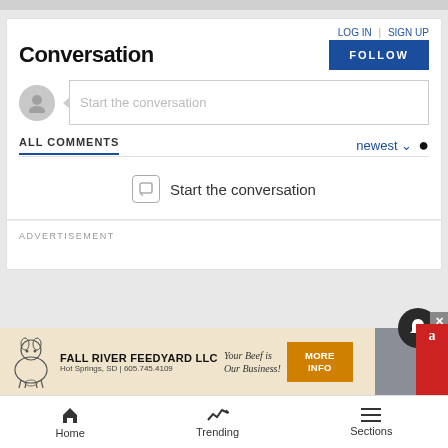Conversation
LOG IN | SIGN UP
FOLLOW
Start the conversation
ALL COMMENTS
newest ∨
Start the conversation
ADVERTISEMENT
[Figure (infographic): Fall River Feedyard LLC advertisement banner with cow illustration, text: Your Beef is Our Business!, Hot Springs, SD | 605.745.4109, with MORE INFO button]
Home
Trending
Sections